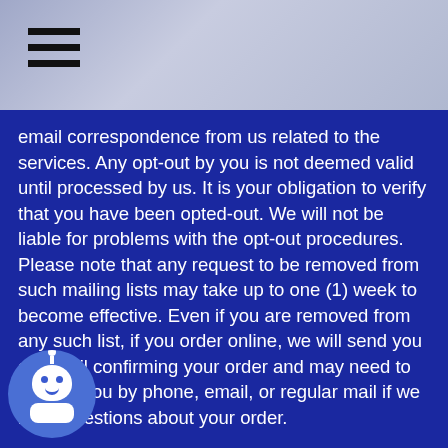Navigation menu header with hamburger icon
email correspondence from us related to the services. Any opt-out by you is not deemed valid until processed by us. It is your obligation to verify that you have been opted-out. We will not be liable for problems with the opt-out procedures. Please note that any request to be removed from such mailing lists may take up to one (1) week to become effective. Even if you are removed from any such list, if you order online, we will send you an email confirming your order and may need to contact you by phone, email, or regular mail if we have questions about your order.
If you register for an Account on the Site, you may review and update your account information by logging in to your account with your username and password at www.agjeans.com or by contacting customer service at support@listingstoloads.com